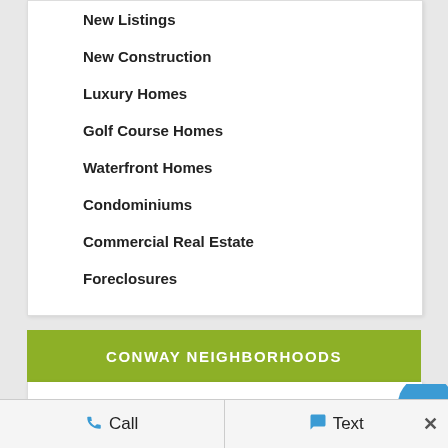New Listings
New Construction
Luxury Homes
Golf Course Homes
Waterfront Homes
Condominiums
Commercial Real Estate
Foreclosures
CONWAY NEIGHBORHOODS
Alpharetta Farms
Call   Text   ×